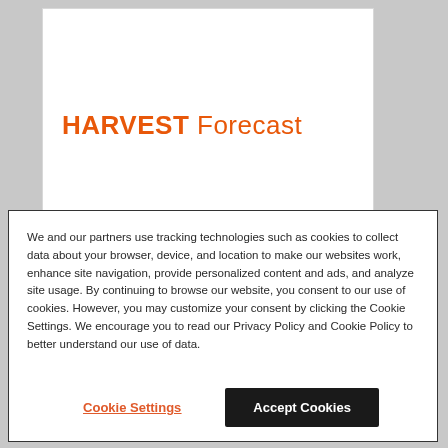[Figure (logo): Harvest Forecast logo — HARVEST in bold orange, Forecast in regular orange weight]
We and our partners use tracking technologies such as cookies to collect data about your browser, device, and location to make our websites work, enhance site navigation, provide personalized content and ads, and analyze site usage. By continuing to browse our website, you consent to our use of cookies. However, you may customize your consent by clicking the Cookie Settings. We encourage you to read our Privacy Policy and Cookie Policy to better understand our use of data.
Cookie Settings
Accept Cookies